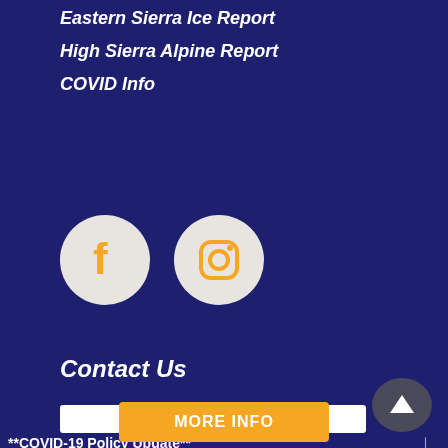Eastern Sierra Ice Report
High Sierra Alpine Report
COVID Info
[Figure (illustration): Facebook and Instagram social media icons in orange on light gray circular backgrounds]
Contact Us
**COVID-19 Policy Update**
MORE INFO